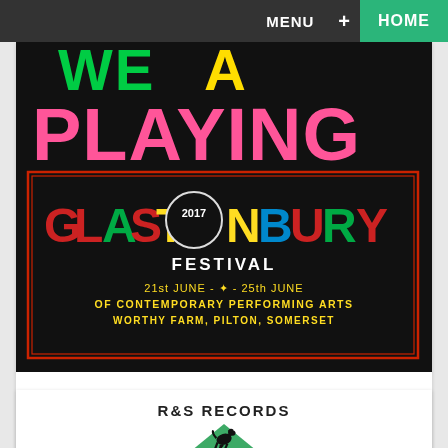MENU + HOME
[Figure (illustration): Glastonbury 2017 Festival poster showing colorful text 'WE ARE PLAYING GLASTONBURY 2017 FESTIVAL 21st June - 25th June of Contemporary Performing Arts, Worthy Farm, Pilton, Somerset' on black background]
Glastonbury 2017
—More info
[Figure (logo): R&S Records logo with text 'R&S RECORDS' above a green downward-pointing triangle containing a black rearing horse silhouette]